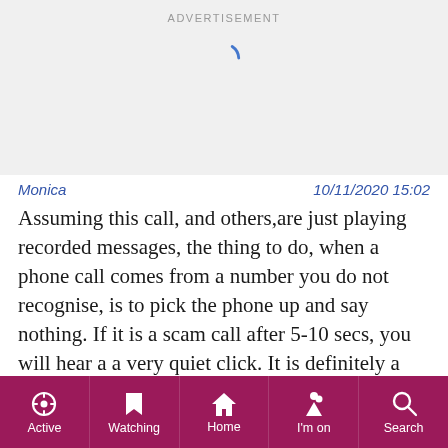[Figure (screenshot): Advertisement banner area with loading spinner on grey background]
Monica   10/11/2020 15:02
Assuming this call, and others,are just playing recorded messages, the thing to do, when a phone call comes from a number you do not recognise, is to pick the phone up and say nothing. If it is a scam call after 5-10 secs, you will hear a a very quiet click. It is definitely a scam and the tape machine has automatically turned off and moved on.
I did do this once on a genuine call and after a few seconds someone spoke the other end and I just apologised and explained my silence.
Active   Watching   Home   I'm on   Search